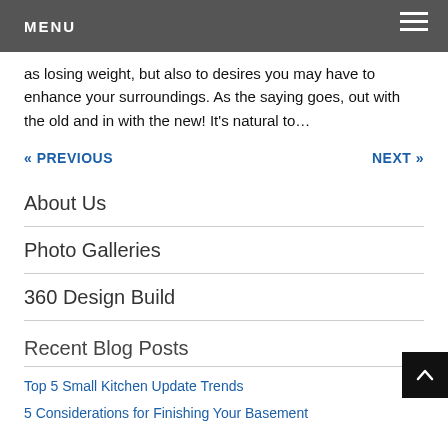MENU
as losing weight, but also to desires you may have to enhance your surroundings. As the saying goes, out with the old and in with the new! It's natural to…
« PREVIOUS   NEXT »
About Us
Photo Galleries
360 Design Build
Recent Blog Posts
Top 5 Small Kitchen Update Trends
5 Considerations for Finishing Your Basement